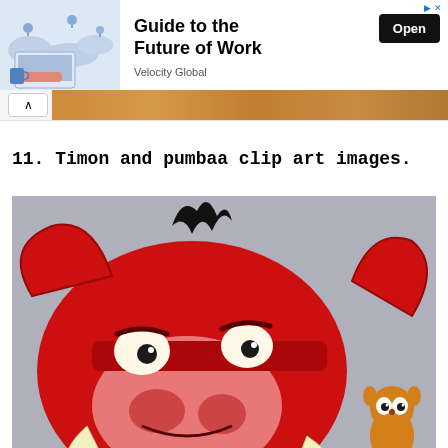[Figure (illustration): Advertisement banner for 'Guide to the Future of Work' by Velocity Global, with an Open button on the right and a map/laptop illustration on the left.]
Guide to the Future of Work
Velocity Global
[Figure (illustration): Partial orange/wooden background strip visible behind a collapsed area.]
11. Timon and pumbaa clip art images.
[Figure (illustration): Close-up cartoon illustration of Pumbaa the warthog from The Lion King, red-colored with tusks, and a small Timon character visible in the bottom right corner. Grey background.]